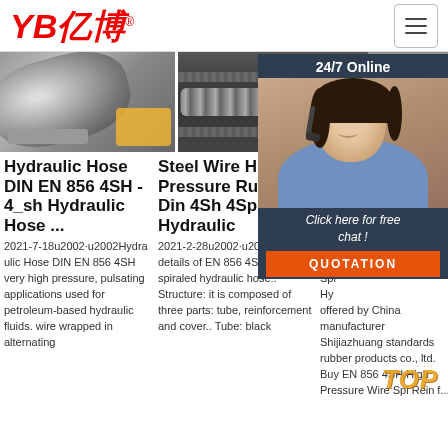[Figure (logo): YB亿博 logo in red italic text with registered trademark symbol]
[Figure (photo): Three product images: hydraulic hose close-up, steel wire hose, and partial third image]
[Figure (photo): Online customer service representative with headset, 24/7 Online panel, Click here for free chat and QUOTATION button]
Hydraulic Hose DIN EN 856 4SH - 4_sh Hydraulic Hose ...
2021-7-18u2002·u2002Hydraulic Hose DIN EN 856 4SH very high pressure, pulsating applications used for petroleum-based hydraulic fluids. wire wrapped in alternating
Steel Wire High Pressure Rubber Din 4Sh 4Sp Hydraulic
2021-2-28u2002·u2002The details of EN 856 4SH steel wire spiraled hydraulic hose:. Structure: it is composed of three parts: tube, reinforcement and cover.. Tube: black
EN... Hig... Wi... Re...
EN... Pre... Spi... Hy... offered by China manufacturer Shijiazhuang standards rubber products co., ltd. Buy EN 856 4SH High Pressure Wire Spi Rein f...